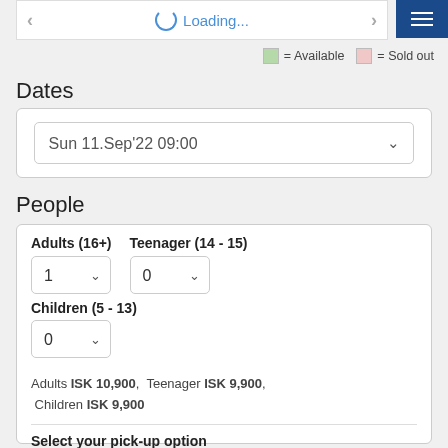[Figure (screenshot): Navigation bar with back arrow, loading spinner with 'Loading...' text, forward arrow, and hamburger menu button on dark blue background]
= Available   = Sold out
Dates
Sun 11.Sep'22  09:00
People
Adults (16+)
Teenager (14 - 15)
Children (5 - 13)
Adults ISK 10,900,   Teenager ISK 9,900,  Children ISK 9,900
Select your pick-up option
.Not Known Yet (Will Provide Details Later)